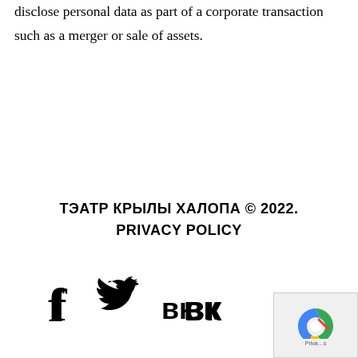disclose personal data as part of a corporate transaction such as a merger or sale of assets.
ТЭАТР КРЫЛЫ ХАЛОПА © 2022.
PRIVACY POLICY
[Figure (infographic): Social media icons: Facebook (f), Twitter (bird), VKontakte (VK)]
[Figure (other): reCAPTCHA privacy widget in bottom-right corner]